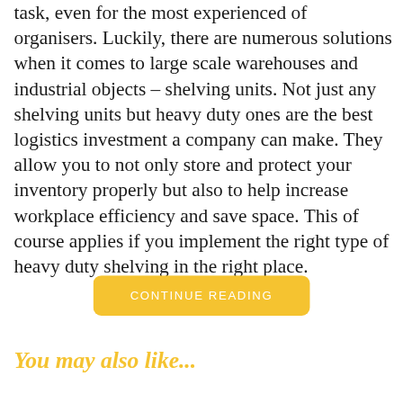task, even for the most experienced of organisers. Luckily, there are numerous solutions when it comes to large scale warehouses and industrial objects – shelving units. Not just any shelving units but heavy duty ones are the best logistics investment a company can make. They allow you to not only store and protect your inventory properly but also to help increase workplace efficiency and save space. This of course applies if you implement the right type of heavy duty shelving in the right place.
CONTINUE READING
You may also like...